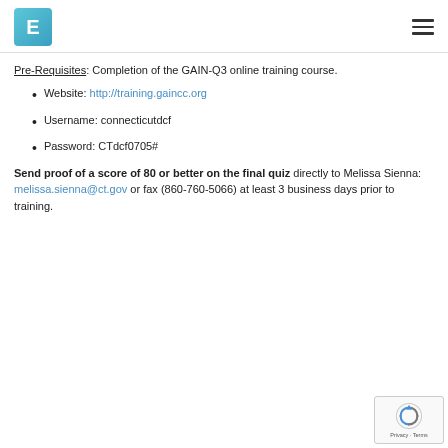E [logo] [hamburger menu]
Pre-Requisites: Completion of the GAIN-Q3 online training course.
Website: http://training.gaincc.org
Username: connecticutdcf
Password: CTdcf0705#
Send proof of a score of 80 or better on the final quiz directly to Melissa Sienna: melissa.sienna@ct.gov or fax (860-760-5066) at least 3 business days prior to training.